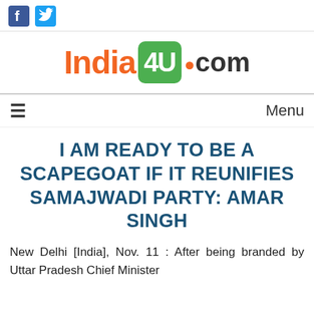[Figure (logo): India4U.com website logo with social media icons (Facebook and Twitter)]
I AM READY TO BE A SCAPEGOAT IF IT REUNIFIES SAMAJWADI PARTY: AMAR SINGH
New Delhi [India], Nov. 11 : After being branded by Uttar Pradesh Chief Minister